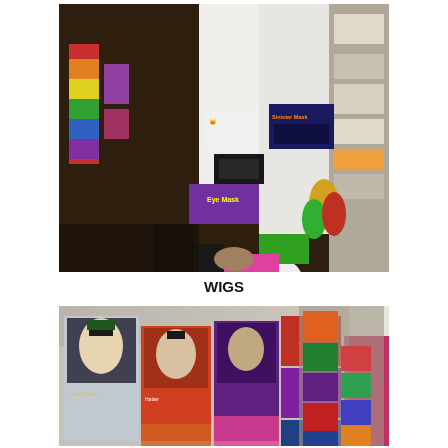[Figure (photo): Interior of a costume shop showing shelves and pegboards filled with Halloween masks, eye masks, decorative packages, a skull balloon, colorful wigs, and various costume accessories.]
WIGS
[Figure (photo): Interior of a costume shop showing shelves stacked with boxed costume wigs and character wigs, including Joker, various celebrity and character styles, with colorful packaging visible along the wall shelving.]